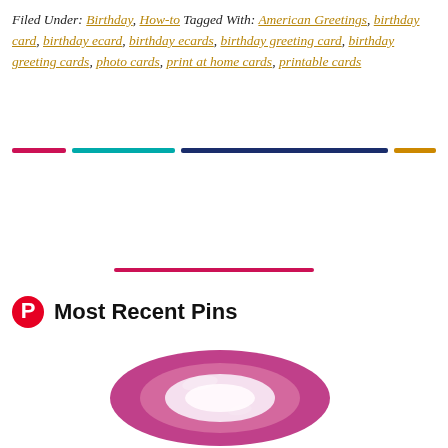Filed Under: Birthday, How-to Tagged With: American Greetings, birthday card, birthday ecard, birthday ecards, birthday greeting card, birthday greeting cards, photo cards, print at home cards, printable cards
[Figure (infographic): Horizontal colored divider bars: pink/crimson, teal, dark navy, golden-yellow]
[Figure (infographic): Single pink/crimson horizontal divider bar centered]
Most Recent Pins
[Figure (photo): Roll of pink glittery washi/decorative tape, shown from the front as a round roll]